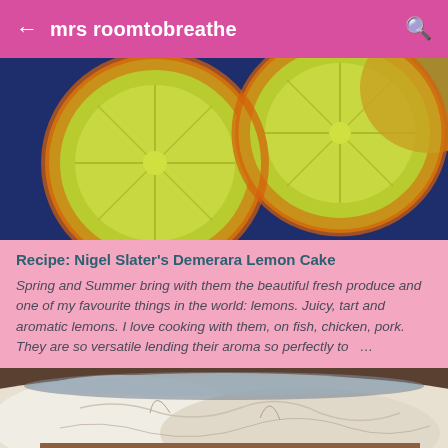mrs roomtobreathe
[Figure (photo): Close-up photo of sliced lemons/citrus fruits with golden-brown edges on a dark blue background]
Recipe: Nigel Slater's Demerara Lemon Cake
Spring and Summer bring with them the beautiful fresh produce and one of my favourite things in the world: lemons. Juicy, tart and aromatic lemons. I love cooking with them, on fish, chicken, pork. They are so versatile lending their aroma so perfectly to …
[Figure (photo): Close-up photo of what appears to be a cake or baked good with a white/cream colored texture, partially sliced]